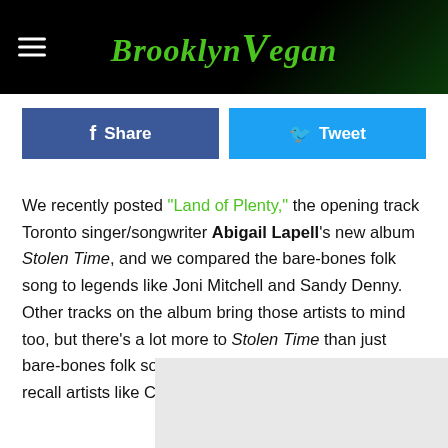BrooklynVegan
Share
Tweet
We recently posted "Land of Plenty," the opening track Toronto singer/songwriter Abigail Lapell's new album Stolen Time, and we compared the bare-bones folk song to legends like Joni Mitchell and Sandy Denny. Other tracks on the album bring those artists to mind too, but there's a lot more to Stolen Time than just bare-bones folk songs. It's got full-band rock songs that recall artists like Cat Power and Sharon Van Etten; fleshed ... nd